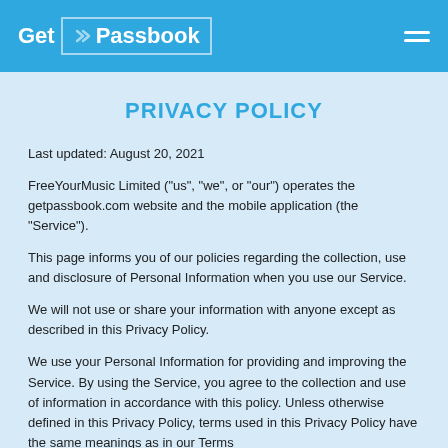Get Passbook
PRIVACY POLICY
Last updated: August 20, 2021
FreeYourMusic Limited ("us", "we", or "our") operates the getpassbook.com website and the mobile application (the "Service").
This page informs you of our policies regarding the collection, use and disclosure of Personal Information when you use our Service.
We will not use or share your information with anyone except as described in this Privacy Policy.
We use your Personal Information for providing and improving the Service. By using the Service, you agree to the collection and use of information in accordance with this policy. Unless otherwise defined in this Privacy Policy, terms used in this Privacy Policy have the same meanings as in our Terms